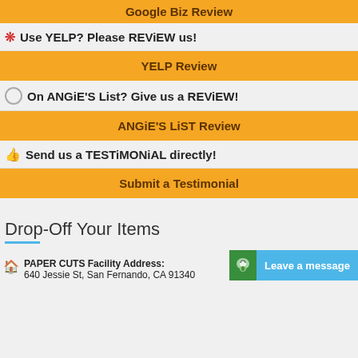Google Biz Review
☆ Use YELP? Please REViEW us!
YELP Review
◯ On ANGiE'S List? Give us a REViEW!
ANGiE'S LiST Review
👍 Send us a TESTiMONiAL directly!
Submit a Testimonial
Drop-Off Your Items
PAPER CUTS Facility Address:
640 Jessie St, San Fernando, CA 91340
Leave a message